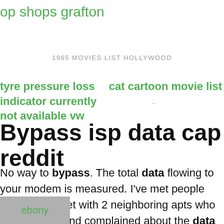op shops grafton
1965 MOVIES LIST HOLLYWOOD
tyre pressure loss indicator currently not available vw
cat cartoon movie list
Bypass isp data cap reddit
No way to bypass. The total data flowing to your modem is measured. I've met people sharing internet with 2 neighboring apts who were friends and complained about the data
rough
ebony